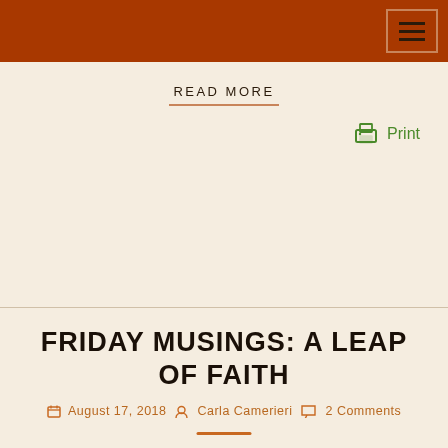Navigation bar with hamburger menu
READ MORE
[Figure (other): Print button icon with printer SVG and green Print label]
FRIDAY MUSINGS: A LEAP OF FAITH
August 17, 2018  Carla Camerieri  2 Comments